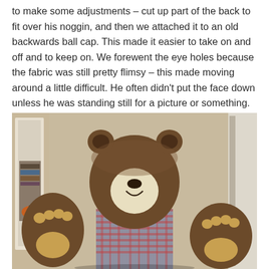to make some adjustments – cut up part of the back to fit over his noggin, and then we attached it to an old backwards ball cap. This made it easier to take on and off and to keep on. We forewent the eye holes because the fabric was still pretty flimsy – this made moving around a little difficult. He often didn't put the face down unless he was standing still for a picture or something.
[Figure (photo): A person wearing a large brown bear head costume (from a stuffed animal) and brown bear paw gloves, dressed in a plaid flannel shirt, standing indoors in what appears to be a living room or hallway.]